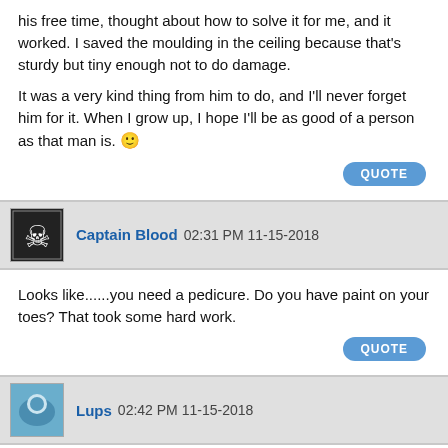his free time, thought about how to solve it for me, and it worked. I saved the moulding in the ceiling because that's sturdy but tiny enough not to do damage.

It was a very kind thing from him to do, and I'll never forget him for it. When I grow up, I hope I'll be as good of a person as that man is. 🙂
QUOTE
Captain Blood 02:31 PM 11-15-2018
Looks like......you need a pedicure. Do you have paint on your toes? That took some hard work.
QUOTE
Lups 02:42 PM 11-15-2018